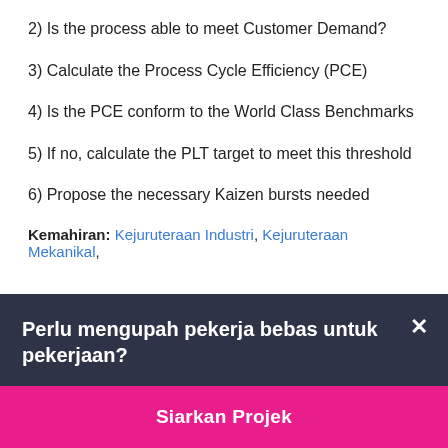2) Is the process able to meet Customer Demand?
3) Calculate the Process Cycle Efficiency (PCE)
4) Is the PCE conform to the World Class Benchmarks
5) If no, calculate the PLT target to meet this threshold
6) Propose the necessary Kaizen bursts needed
Kemahiran: Kejuruteraan Industri, Kejuruteraan Mekanikal,
Perlu mengupah pekerja bebas untuk pekerjaan?
Siarkan Projek